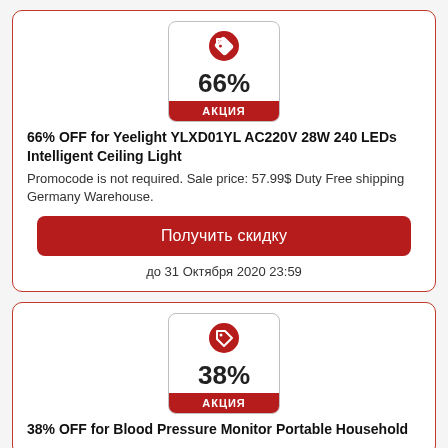[Figure (logo): Red tag/discount badge icon with 66% text and АКЦИЯ label]
66% OFF for Yeelight YLXD01YL AC220V 28W 240 LEDs Intelligent Ceiling Light
Promocode is not required. Sale price: 57.99$ Duty Free shipping Germany Warehouse.
Получить скидку
до 31 Октября 2020 23:59
[Figure (logo): Red tag/discount badge icon with 38% text and АКЦИЯ label]
38% OFF for Blood Pressure Monitor Portable Household